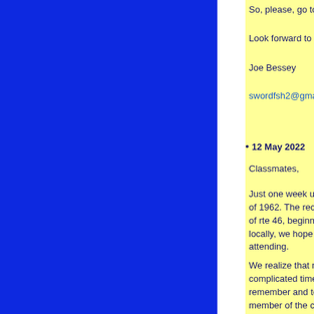So, please, go to it.
Look forward to seeing you
Joe Bessey
swordfsh2@gmail.com
12 May 2022
Classmates,
Just one week until the mai of 1962. The reception and of rte 46, beginning at 5:30 locally, we hope you will dr attending.
We realize that many may complicated time, and we a remember and toast all of y member of the class. If yo please email me. I will coll